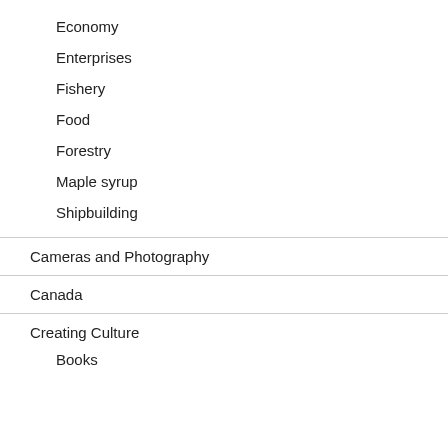Economy
Enterprises
Fishery
Food
Forestry
Maple syrup
Shipbuilding
Cameras and Photography
Canada
Creating Culture
Books